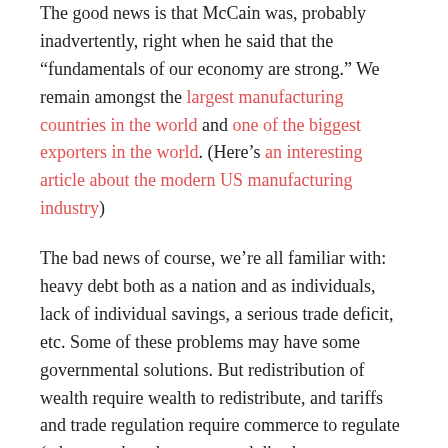The good news is that McCain was, probably inadvertently, right when he said that the “fundamentals of our economy are strong.” We remain amongst the largest manufacturing countries in the world and one of the biggest exporters in the world. (Here’s an interesting article about the modern US manufacturing industry)
The bad news of course, we’re all familiar with: heavy debt both as a nation and as individuals, lack of individual savings, a serious trade deficit, etc. Some of these problems may have some governmental solutions. But redistribution of wealth require wealth to redistribute, and tariffs and trade regulation require commerce to regulate (whatever the advantages and disadvantages may be). This is what “the market” is good for.